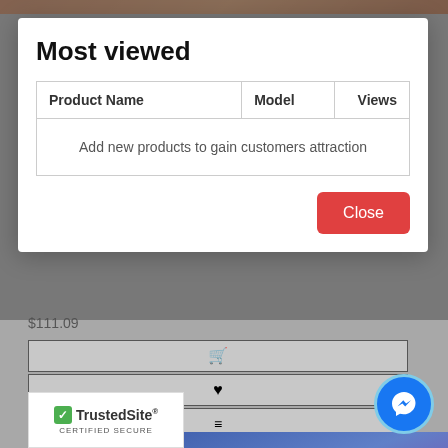[Figure (screenshot): Top sliver of a product image visible behind modal overlay]
Most viewed
| Product Name | Model | Views |
| --- | --- | --- |
| Add new products to gain customers attraction |  |  |
Close
$111.09
[Figure (screenshot): Three icon buttons: shopping cart, heart/wishlist, compare (equals sign)]
[Figure (photo): Product photo of blue bedding set with elephant and mandala design in a bedroom setting]
[Figure (logo): TrustedSite CERTIFIED SECURE badge]
[Figure (other): Facebook Messenger floating chat button (blue circle with messenger lightning bolt icon)]